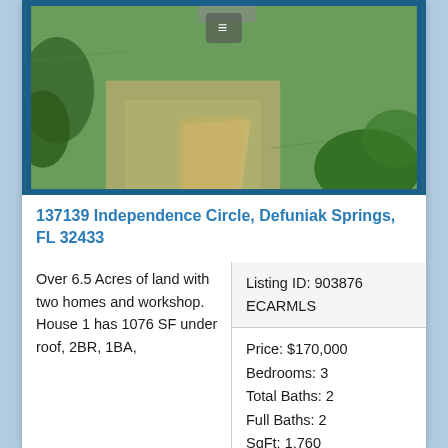[Figure (photo): Aerial/overhead photo of a property with green grass, sandy paths, trees, and vegetation. Menu icon (three horizontal lines) visible at top center.]
137139 Independence Circle, Defuniak Springs, FL 32433
Over 6.5 Acres of land with two homes and workshop. House 1 has 1076 SF under roof, 2BR, 1BA,
Listing ID: 903876 ECARMLS
Price: $170,000
Bedrooms: 3
Total Baths: 2
Full Baths: 2
SqFt: 1,760
Acres: 6.500
Status: Active